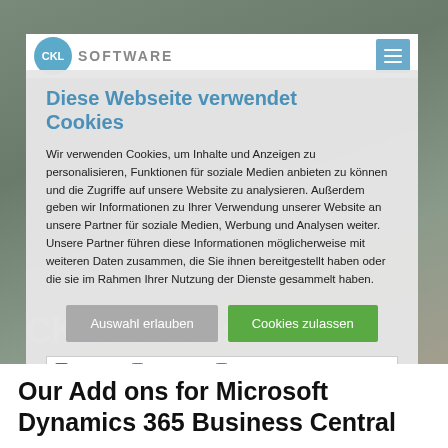[Figure (screenshot): CKL Software website screenshot showing cookie consent popup overlay on top of a webpage about Microsoft Dynamics 365 add-ons]
Diese Webseite verwendet Cookies
Wir verwenden Cookies, um Inhalte und Anzeigen zu personalisieren, Funktionen für soziale Medien anbieten zu können und die Zugriffe auf unsere Website zu analysieren. Außerdem geben wir Informationen zu Ihrer Verwendung unserer Website an unsere Partner für soziale Medien, Werbung und Analysen weiter. Unsere Partner führen diese Informationen möglicherweise mit weiteren Daten zusammen, die Sie ihnen bereitgestellt haben oder die sie im Rahmen Ihrer Nutzung der Dienste gesammelt haben.
Auswahl erlauben
Cookies zulassen
Notwendig  Präferenzen  Statistiken  Details zeigen  Marketing
Our Add ons for Microsoft Dynamics 365 Business Central